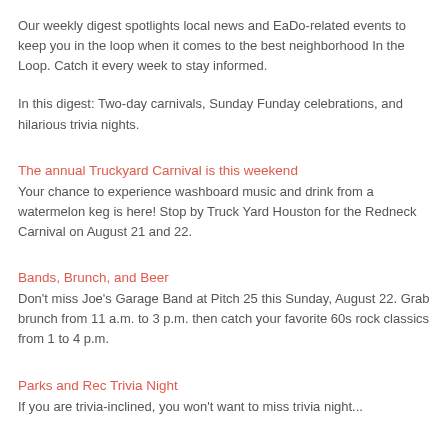Our weekly digest spotlights local news and EaDo-related events to keep you in the loop when it comes to the best neighborhood In the Loop. Catch it every week to stay informed.
In this digest: Two-day carnivals, Sunday Funday celebrations, and hilarious trivia nights.
The annual Truckyard Carnival is this weekend
Your chance to experience washboard music and drink from a watermelon keg is here! Stop by Truck Yard Houston for the Redneck Carnival on August 21 and 22.
Bands, Brunch, and Beer
Don't miss Joe's Garage Band at Pitch 25 this Sunday, August 22. Grab brunch from 11 a.m. to 3 p.m. then catch your favorite 60s rock classics from 1 to 4 p.m.
Parks and Rec Trivia Night
If you are trivia-inclined, you won't want to miss trivia night...